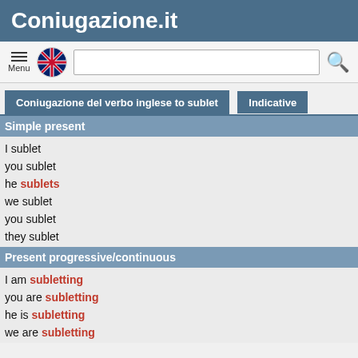Coniugazione.it
Coniugazione del verbo inglese to sublet
Indicative
Simple present
I sublet
you sublet
he sublets
we sublet
you sublet
they sublet
Present progressive/continuous
I am subletting
you are subletting
he is subletting
we are subletting